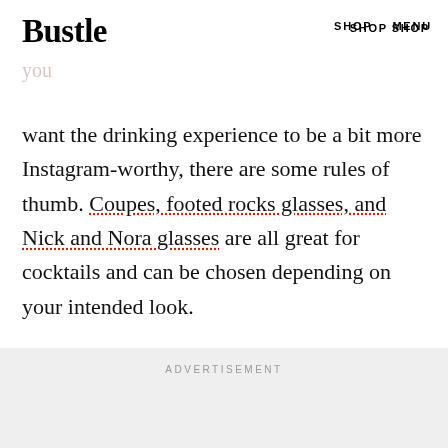Bustle  SHOP  MENU
Tecosky emphasizes that no matter what glass you use, your cocktail is going to taste the same, but if you want the drinking experience to be a bit more Instagram-worthy, there are some rules of thumb. Coupes, footed rocks glasses, and Nick and Nora glasses are all great for cocktails and can be chosen depending on your intended look.
ADVERTISEMENT